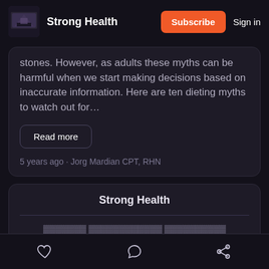Strong Health | Subscribe | Sign in
stones. However, as adults these myths can be harmful when we start making decisions based on inaccurate information. Here are ten dieting myths to watch out for…
Read more
5 years ago · Jorg Mardian CPT, RHN
Strong Health
Like | Comment | Share